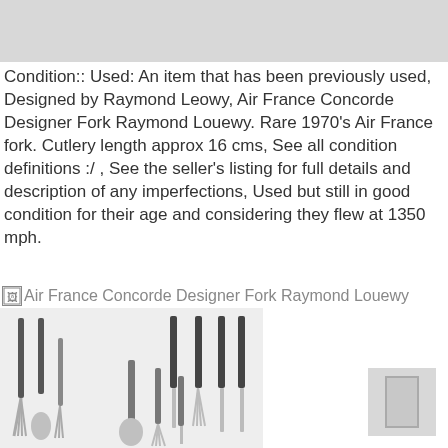[Figure (photo): Gray banner at top of page]
Condition:: Used: An item that has been previously used, Designed by Raymond Leowy, Air France Concorde Designer Fork Raymond Louewy. Rare 1970's Air France fork. Cutlery length approx 16 cms, See all condition definitions :/ , See the seller's listing for full details and description of any imperfections, Used but still in good condition for their age and considering they flew at 1350 mph.
Air France Concorde Designer Fork Raymond Louewy
[Figure (photo): Photo of Air France Concorde designer cutlery set by Raymond Louewy — several forks, knives and spoons with dark handles arranged on a light surface]
[Figure (photo): Small thumbnail image placeholder with page icon]